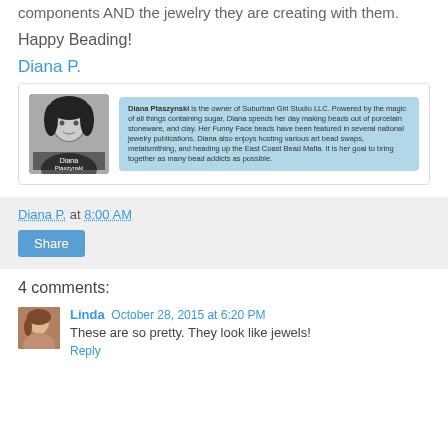components AND the jewelry they are creating with them.
Happy Beading!
Diana P.
[Figure (photo): Author bio card with black-and-white photo of Diana Ptaszynski on the left and a blue bio text box on the right describing her as owner of Suburban Girl Studio LLC.]
Diana P. at 8:00 AM
Share
4 comments:
Linda  October 28, 2015 at 6:20 PM
These are so pretty. They look like jewels!
Reply